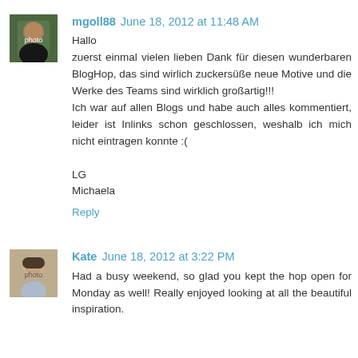[Figure (photo): Avatar photo of mgoll88, person against green background]
mgoll88  June 18, 2012 at 11:48 AM
Hallo
zuerst einmal vielen lieben Dank für diesen wunderbaren BlogHop, das sind wirlich zuckersüße neue Motive und die Werke des Teams sind wirklich großartig!!!
Ich war auf allen Blogs und habe auch alles kommentiert, leider ist Inlinks schon geschlossen, weshalb ich mich nicht eintragen konnte :(

LG
Michaela
Reply
[Figure (photo): Avatar photo of Kate, illustrated person with dark hair]
Kate  June 18, 2012 at 3:22 PM
Had a busy weekend, so glad you kept the hop open for Monday as well! Really enjoyed looking at all the beautiful inspiration.